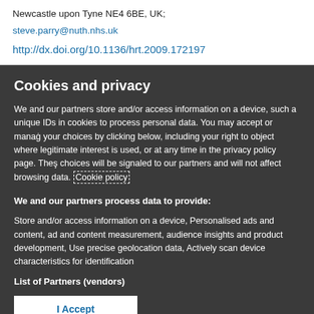Newcastle upon Tyne NE4 6BE, UK;
steve.parry@nuth.nhs.uk
http://dx.doi.org/10.1136/hrt.2009.172197
Cookies and privacy
We and our partners store and/or access information on a device, such as unique IDs in cookies to process personal data. You may accept or manage your choices by clicking below, including your right to object where legitimate interest is used, or at any time in the privacy policy page. These choices will be signaled to our partners and will not affect browsing data. Cookie policy
We and our partners process data to provide:
Store and/or access information on a device, Personalised ads and content, ad and content measurement, audience insights and product development, Use precise geolocation data, Actively scan device characteristics for identification
List of Partners (vendors)
I Accept